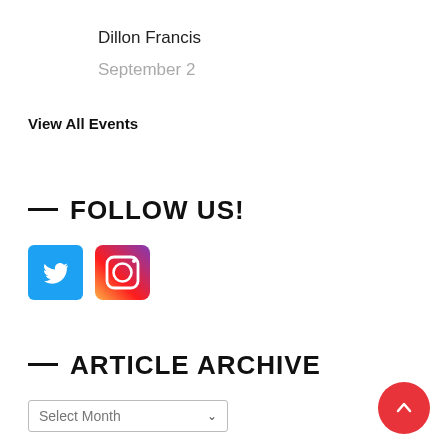Dillon Francis
September 2
View All Events
— FOLLOW US!
[Figure (logo): Twitter bird logo icon on blue square background]
[Figure (logo): Instagram camera logo icon on gradient square background]
— ARTICLE ARCHIVE
Select Month